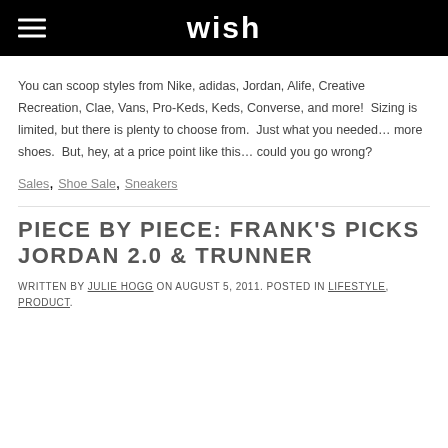wish
You can scoop styles from Nike, adidas, Jordan, Alife, Creative Recreation, Clae, Vans, Pro-Keds, Keds, Converse, and more!  Sizing is limited, but there is plenty to choose from.  Just what you needed… more shoes.  But, hey, at a price point like this… could you go wrong?
Sales, Shoe Sale, Sneakers
PIECE BY PIECE: FRANK'S PICKS JORDAN 2.0 & TRUNNER
WRITTEN BY JULIE HOGG ON AUGUST 5, 2011. POSTED IN LIFESTYLE, PRODUCT.